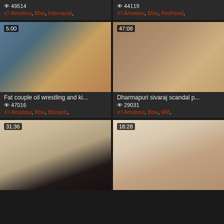49514 | Amateur, Bbw, Interracial,
44119 | Amateur, Bbw, Redhead,
[Figure (photo): Video thumbnail with duration 5:00]
[Figure (photo): Video thumbnail with duration 47:08]
Fat couple oil wrestling and ki... | 47016 | Amateur, Bbw, Blowjob,
Dharmapuri sivaraj scandal p... | 29031 | Amateur, Bbw, Milf,
[Figure (photo): Video thumbnail with duration 31:36]
[Figure (photo): Video thumbnail with duration 18:28]